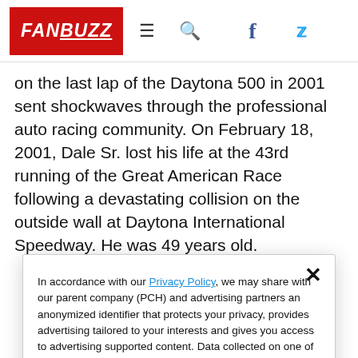FANBUZZ
on the last lap of the Daytona 500 in 2001 sent shockwaves through the professional auto racing community. On February 18, 2001, Dale Sr. lost his life at the 43rd running of the Great American Race following a devastating collision on the outside wall at Daytona International Speedway. He was 49 years old.
In accordance with our Privacy Policy, we may share with our parent company (PCH) and advertising partners an anonymized identifier that protects your privacy, provides advertising tailored to your interests and gives you access to advertising supported content. Data collected on one of our sites may be used on our other owned and operated sites, which sites are identified in our Privacy Policy. All of our sites are governed by the same Privacy Policy, and by proceeding to access this site, you are consenting to that Privacy Policy.